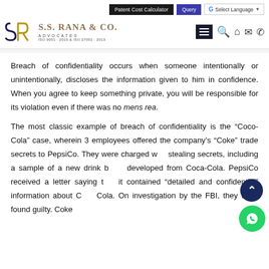Patent Cost Calculator | Query | G Select Language
[Figure (logo): S.S. Rana & Co. Advocates logo with SR monogram, firm name, ADVOCATES, ISO 9001:2015 & ISO 27001:2013]
Breach of confidentiality occurs when someone intentionally or unintentionally, discloses the information given to him in confidence. When you agree to keep something private, you will be responsible for its violation even if there was no mens rea.
The most classic example of breach of confidentiality is the “Coco-Cola” case, wherein 3 employees offered the company’s “Coke” trade secrets to PepsiCo. They were charged with stealing secrets, including a sample of a new drink being developed from Coca-Cola. PepsiCo received a letter saying that it contained “detailed and confidential” information about Coca-Cola. On investigation by the FBI, they were found guilty. Coke